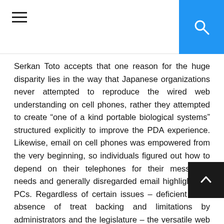[hamburger menu icon] [search icon]
Serkan Toto accepts that one reason for the huge disparity lies in the way that Japanese organizations never attempted to reproduce the wired web understanding on cell phones, rather they attempted to create “one of a kind portable biological systems” structured explicitly to improve the PDA experience. Likewise, email on cell phones was empowered from the very beginning, so individuals figured out how to depend on their telephones for their messaging needs and generally disregarded email highlights on PCs. Regardless of certain issues – deficient CSS, absence of treat backing and limitations by administrators and the legislature – the versatile web in Japan is quick, modern, stable and easy to understand.
So while individuals in Europe, Australasia and the Americas are getting amped up for the way that the new 3G iPhone takes into account various tabs, the Japanese are utilizing their